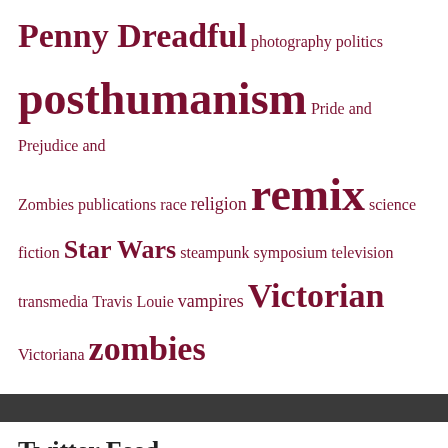Penny Dreadful photography politics posthumanism Pride and Prejudice and Zombies publications race religion remix science fiction Star Wars steampunk symposium television transmedia Travis Louie vampires Victorian Victoriana zombies
Twitter Feed
Tweets from @MegenJM  Follow  Dr Megen de Bruin-Molé is out of office Retweeted